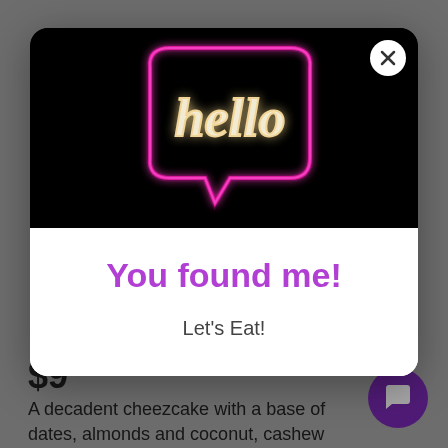[Figure (screenshot): Background page showing price $9 and product description text, with purple chat button in bottom right]
[Figure (photo): Neon 'hello' sign in a speech bubble shape glowing pink/magenta on black background, inside modal dialog]
You found me!
Let's Eat!